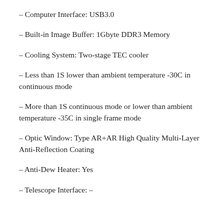– Computer Interface: USB3.0
– Built-in Image Buffer: 1Gbyte DDR3 Memory
– Cooling System: Two-stage TEC cooler
– Less than 1S lower than ambient temperature -30C in continuous mode
– More than 1S continuous mode or lower than ambient temperature -35C in single frame mode
– Optic Window: Type AR+AR High Quality Multi-Layer Anti-Reflection Coating
– Anti-Dew Heater: Yes
– Telescope Interface: –